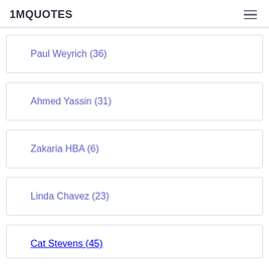1MQUOTES
Paul Weyrich (36)
Ahmed Yassin (31)
Zakaria HBA (6)
Linda Chavez (23)
Cat Stevens (45)